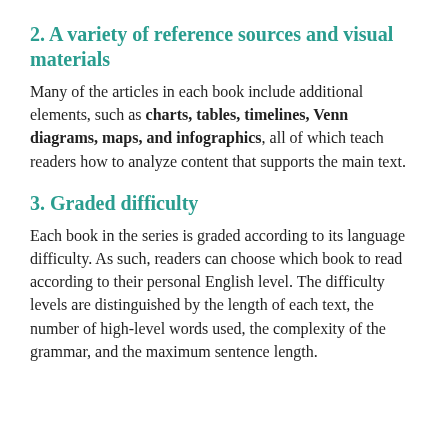2. A variety of reference sources and visual materials
Many of the articles in each book include additional elements, such as charts, tables, timelines, Venn diagrams, maps, and infographics, all of which teach readers how to analyze content that supports the main text.
3. Graded difficulty
Each book in the series is graded according to its language difficulty. As such, readers can choose which book to read according to their personal English level. The difficulty levels are distinguished by the length of each text, the number of high-level words used, the complexity of the grammar, and the maximum sentence length.